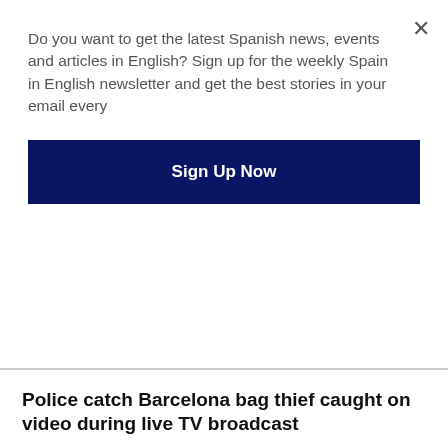Do you want to get the latest Spanish news, events and articles in English? Sign up for the weekly Spain in English newsletter and get the best stories in your email every
Sign Up Now
Police catch Barcelona bag thief caught on video during live TV broadcast
[Figure (photo): Light grey placeholder image area below the article title]